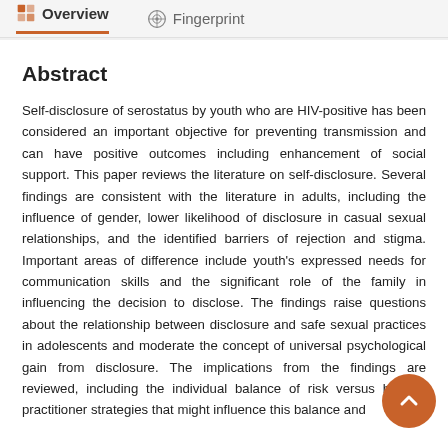Overview   Fingerprint
Abstract
Self-disclosure of serostatus by youth who are HIV-positive has been considered an important objective for preventing transmission and can have positive outcomes including enhancement of social support. This paper reviews the literature on self-disclosure. Several findings are consistent with the literature in adults, including the influence of gender, lower likelihood of disclosure in casual sexual relationships, and the identified barriers of rejection and stigma. Important areas of difference include youth's expressed needs for communication skills and the significant role of the family in influencing the decision to disclose. The findings raise questions about the relationship between disclosure and safe sexual practices in adolescents and moderate the concept of universal psychological gain from disclosure. The implications from the findings are reviewed, including the individual balance of risk versus benefit, practitioner strategies that might influence this balance and